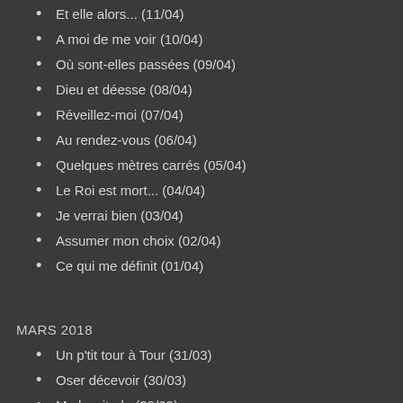Et elle alors... (11/04)
A moi de me voir (10/04)
Où sont-elles passées (09/04)
Dieu et déesse (08/04)
Réveillez-moi (07/04)
Au rendez-vous (06/04)
Quelques mètres carrés (05/04)
Le Roi est mort... (04/04)
Je verrai bien (03/04)
Assumer mon choix (02/04)
Ce qui me définit (01/04)
MARS 2018
Un p'tit tour à Tour (31/03)
Oser décevoir (30/03)
Ma lassitude (29/03)
Tête de linotte (28/03)